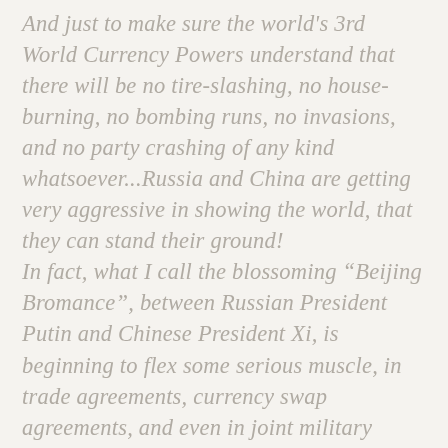And just to make sure the world's 3rd World Currency Powers understand that there will be no tire-slashing, no house-burning, no bombing runs, no invasions, and no party crashing of any kind whatsoever...Russia and China are getting very aggressive in showing the world, that they can stand their ground! In fact, what I call the blossoming “Beijing Bromance”, between Russian President Putin and Chinese President Xi, is beginning to flex some serious muscle, in trade agreements, currency swap agreements, and even in joint military movements and exercises.